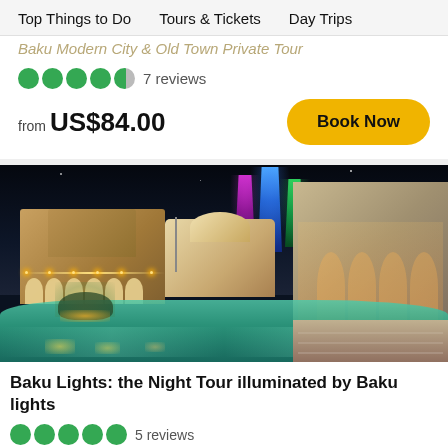Top Things to Do   Tours & Tickets   Day Trips
Baku Modern City & Old Town Private Tour
7 reviews
from US$84.00
Book Now
[Figure (photo): Nighttime panorama of Baku waterfront showing illuminated pool/fountain area, ornate buildings, Flame Towers lit in purple, blue and green, and a modern glass building on the right.]
Baku Lights: the Night Tour illuminated by Baku lights
5 reviews